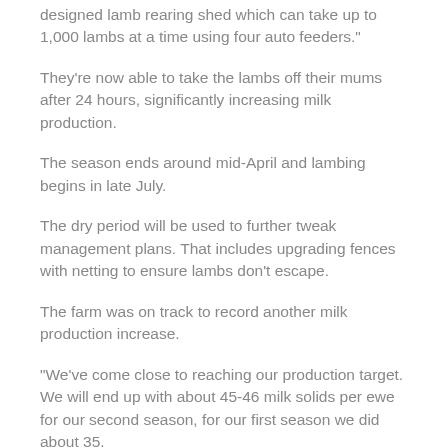designed lamb rearing shed which can take up to 1,000 lambs at a time using four auto feeders."
They're now able to take the lambs off their mums after 24 hours, significantly increasing milk production.
The season ends around mid-April and lambing begins in late July.
The dry period will be used to further tweak management plans. That includes upgrading fences with netting to ensure lambs don't escape.
The farm was on track to record another milk production increase.
"We've come close to reaching our production target. We will end up with about 45-46 milk solids per ewe for our second season, for our first season we did about 35.
"As the genetics improve, as we get a younger flock profile, milk production will improve further."
Green Park expected to increase ewe numbers to about 1,200 for its third season.
Paul said the Agili Rapid Exit milking systems would be able to handle the increase in milking ewe numbers.
"At the moment we are milking about 800 ewes in an hour and 20